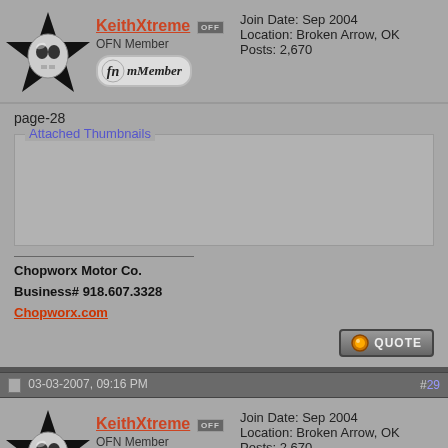[Figure (screenshot): Forum post area showing user KeithXtreme with star/skull avatar, OFN Member badge, join date Sep 2004, Location Broken Arrow OK, Posts 2670. Post content shows page-28 label, Attached Thumbnails box, and signature for Chopworx Motor Co.]
Join Date: Sep 2004
Location: Broken Arrow, OK
Posts: 2,670
KeithXtreme OFF
OFN Member
page-28
Attached Thumbnails
Chopworx Motor Co.
Business# 918.607.3328
Chopworx.com
03-03-2007, 09:16 PM  #29
Join Date: Sep 2004
Location: Broken Arrow, OK
Posts: 2,670
KeithXtreme OFF
OFN Member